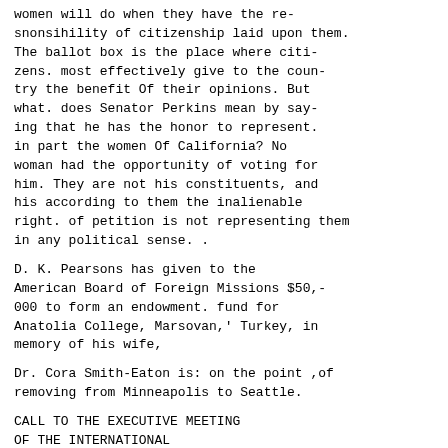women will do when they have the re-snonsihility of citizenship laid upon them. The ballot box is the place where citi-zens. most effectively give to the coun-try the benefit Of their opinions. But what. does Senator Perkins mean by say-ing that he has the honor to represent. in part the women Of California? No woman had the opportunity of voting for him. They are not his constituents, and his according to them the inalienable right. of petition is not representing them in any political sense. .
D. K. Pearsons has given to the American Board of Foreign Missions $50,-000 to form an endowment. fund for Anatolia College, Marsovan,' Turkey, in memory of his wife,
Dr. Cora Smith-Eaton is: on the point ,of removing from Minneapolis to Seattle.
CALL TO THE EXECUTIVE MEETING OF THE INTERNATIONAL WOMAN SUFFRAGE ALLIANCE.
An executive meeting of the Interna-tional Woman Suffrage Alliance will be held in Copenhagen, August 6-11, 1906.